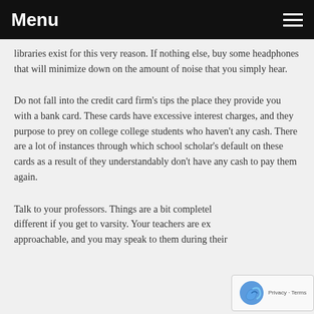Menu
libraries exist for this very reason. If nothing else, buy some headphones that will minimize down on the amount of noise that you simply hear.
Do not fall into the credit card firm's tips the place they provide you with a bank card. These cards have excessive interest charges, and they purpose to prey on college college students who haven't any cash. There are a lot of instances through which school scholar's default on these cards as a result of they understandably don't have any cash to pay them again.
Talk to your professors. Things are a bit completely different if you get to varsity. Your teachers are ex approachable, and you may speak to them during their